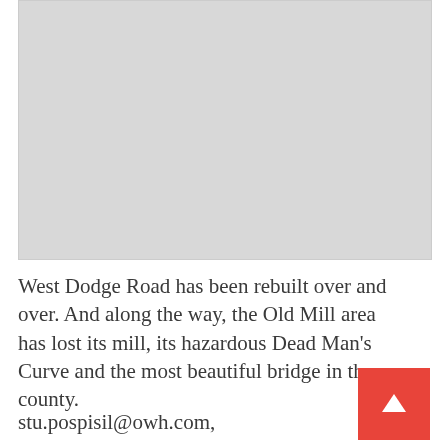[Figure (photo): Gray placeholder image area representing a photo, likely of West Dodge Road or the Old Mill area]
West Dodge Road has been rebuilt over and over. And along the way, the Old Mill area has lost its mill, its hazardous Dead Man's Curve and the most beautiful bridge in the county.
stu.pospisil@owh.com,